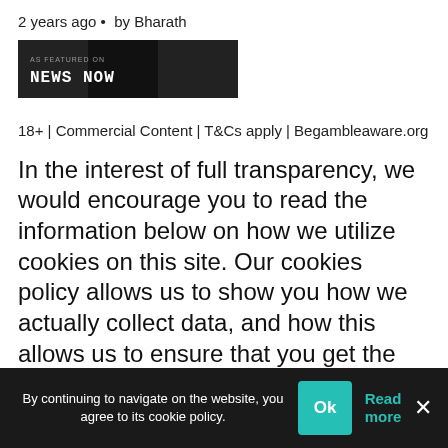2 years ago • by Bharath
[Figure (logo): As Featured On News Now badge — black background with white text]
18+ | Commercial Content | T&Cs apply | Begambleaware.org
In the interest of full transparency, we would encourage you to read the information below on how we utilize cookies on this site. Our cookies policy allows us to show you how we actually collect data, and how this allows us to ensure that you get the best experience when using the site.
This policy highlights everything you need to
By continuing to navigate on the website, you agree to its cookie policy.